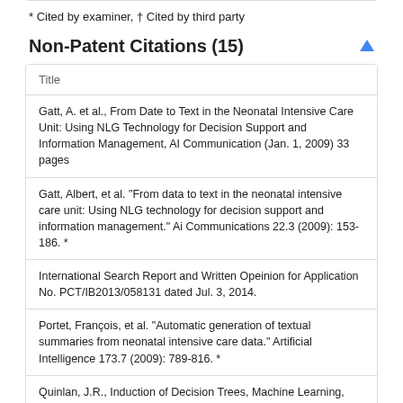* Cited by examiner, † Cited by third party
Non-Patent Citations (15)
| Title |
| --- |
| Gatt, A. et al., From Date to Text in the Neonatal Intensive Care Unit: Using NLG Technology for Decision Support and Information Management, AI Communication (Jan. 1, 2009) 33 pages |
| Gatt, Albert, et al. "From data to text in the neonatal intensive care unit: Using NLG technology for decision support and information management." Ai Communications 22.3 (2009): 153-186. * |
| International Search Report and Written Opeinion for Application No. PCT/IB2013/058131 dated Jul. 3, 2014. |
| Portet, François, et al. "Automatic generation of textual summaries from neonatal intensive care data." Artificial Intelligence 173.7 (2009): 789-816. * |
| Quinlan, J.R., Induction of Decision Trees, Machine Learning, Kluwer Academic Publishers, vol. 1. No. 1 (Jan. 1, 1986) 81-106 |